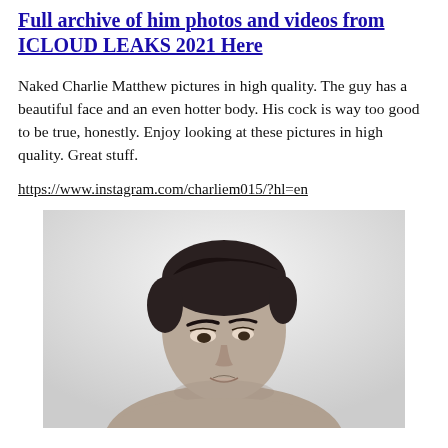Full archive of him photos and videos from ICLOUD LEAKS 2021 Here
Naked Charlie Matthew pictures in high quality. The guy has a beautiful face and an even hotter body. His cock is way too good to be true, honestly. Enjoy looking at these pictures in high quality. Great stuff.
https://www.instagram.com/charliem015/?hl=en
[Figure (photo): Black and white portrait photo of a shirtless young man with dark hair, looking downward, cropped at chest level]